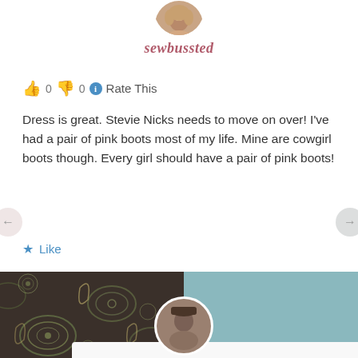[Figure (photo): Circular avatar photo of a woman with blonde hair, partially cropped at top of page]
sewbussted
👍 0 👎 0 ℹ Rate This
Dress is great. Stevie Nicks needs to move on over! I've had a pair of pink boots most of my life. Mine are cowgirl boots though. Every girl should have a pair of pink boots!
★ Like
↪ REPLY
SEPTEMBER 24, 2012 AT 2:19 PM
[Figure (photo): Next comment section showing dark paisley patterned background on left and teal/blue background on right, with a circular avatar of a person wearing a hat]